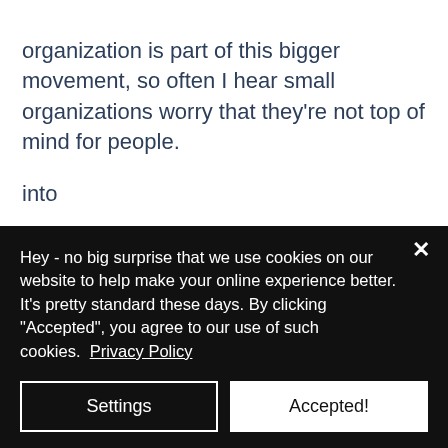organization is part of this bigger movement, so often I hear small organizations worry that they're not top of mind for people.
into
Cindy W.: And these are opportunities to say, okay, like this overall issue or causes top of mind and Hey, we're doing something about that. I see a lot of organizations step back when things happen in the world and they're like, oh,
Hey - no big surprise that we use cookies on our website to help make your online experience better. It's pretty standard these days. By clicking "Accepted", you agree to our use of such cookies.  Privacy Policy
Settings
Accepted!